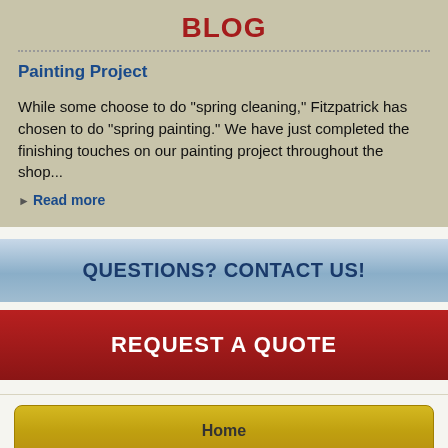BLOG
Painting Project
While some choose to do “spring cleaning,” Fitzpatrick has chosen to do “spring painting.” We have just completed the finishing touches on our painting project throughout the shop...
▸ Read more
QUESTIONS? CONTACT US!
REQUEST A QUOTE
Home
About Us